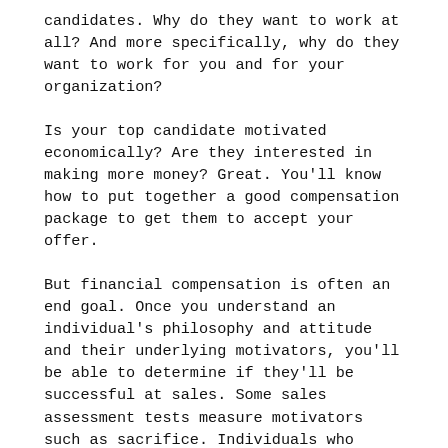candidates. Why do they want to work at all? And more specifically, why do they want to work for you and for your organization?
Is your top candidate motivated economically? Are they interested in making more money? Great. You'll know how to put together a good compensation package to get them to accept your offer.
But financial compensation is often an end goal. Once you understand an individual's philosophy and attitude and their underlying motivators, you'll be able to determine if they'll be successful at sales. Some sales assessment tests measure motivators such as sacrifice. Individuals who score low on this motivator may not make great sales reps, because they don't really want to help others in all cases. Similarly, some folks are willing to give others the shirt off their back. If they're working for